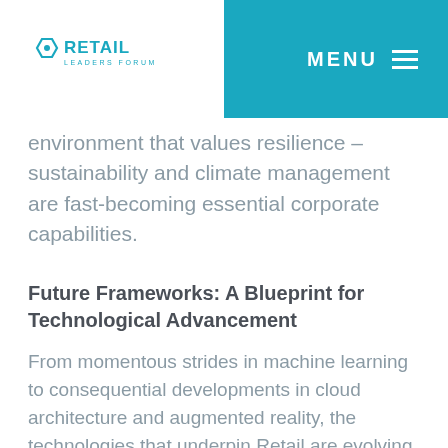RETAIL LEADERS FORUM | MENU
environment that values resilience – sustainability and climate management are fast-becoming essential corporate capabilities.
Future Frameworks: A Blueprint for Technological Advancement
From momentous strides in machine learning to consequential developments in cloud architecture and augmented reality, the technologies that underpin Retail are evolving to change the sector in unexpected and even surreal ways. While not every company has the resources to innovate and extend the